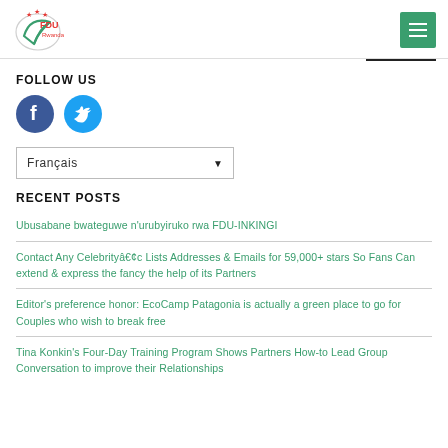[Figure (logo): FDU Rwanda logo with stylized leaf/checkmark and red stars]
FOLLOW US
[Figure (infographic): Facebook and Twitter social media icons (circular blue icons)]
[Figure (other): Language selector dropdown showing Français]
RECENT POSTS
Ubusabane bwateguwe n'urubyiruko rwa FDU-INKINGI
Contact Any Celebrity â€¢ Lists Addresses & Emails for 59,000+ stars So Fans Can extend & express the fancy the help of its Partners
Editor's preference honor: EcoCamp Patagonia is actually a green place to go for Couples who wish to break free
Tina Konkin's Four-Day Training Program Shows Partners How-to Lead Group Conversation to improve their Relationships